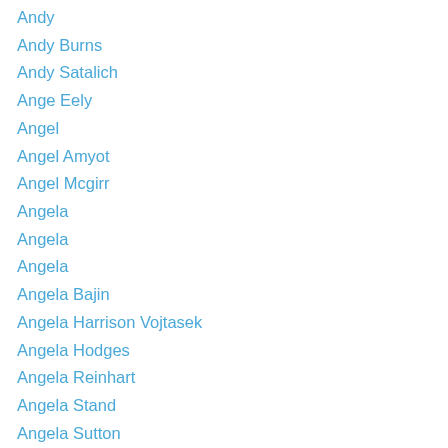Andy
Andy Burns
Andy Satalich
Ange Eely
Angel
Angel Amyot
Angel Mcgirr
Angela
Angela
Angela
Angela Bajin
Angela Harrison Vojtasek
Angela Hodges
Angela Reinhart
Angela Stand
Angela Sutton
Angela Wald
Angie
Angie Boswell
Angie Rose Meyer